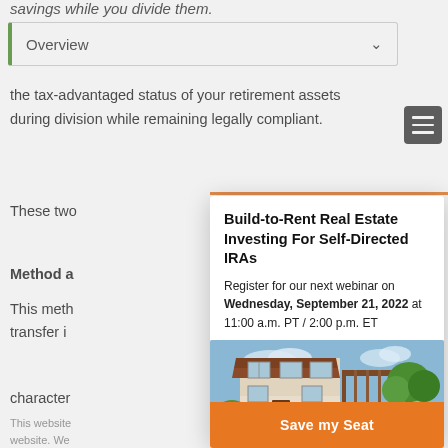savings while you divide them.
Overview
the tax-advantaged status of your retirement assets during division while remaining legally compliant.
These two
Method a
This meth transfer i
character
This website We browsing ex
Build-to-Rent Real Estate Investing For Self-Directed IRAs
Register for our next webinar on Wednesday, September 21, 2022 at 11:00 a.m. PT / 2:00 p.m. ET
[Figure (photo): Exterior photo of a two-story build-to-rent house with beige stucco, tiled roof, blue sky, and green trees]
Save my Seat